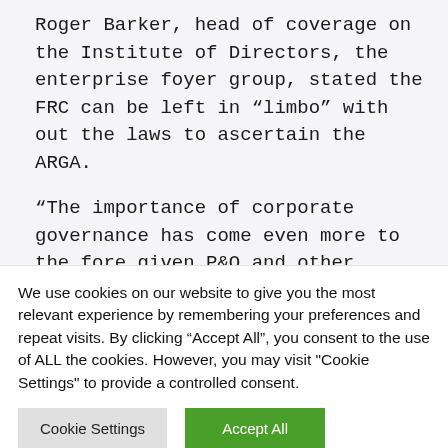Roger Barker, head of coverage on the Institute of Directors, the enterprise foyer group, stated the FRC can be left in “limbo” with out the laws to ascertain the ARGA.
“The importance of corporate governance has come even more to the fore given P&O and other corporate scandals, and we have been waiting for so long for a response from the government, which makes it strange that other
We use cookies on our website to give you the most relevant experience by remembering your preferences and repeat visits. By clicking “Accept All”, you consent to the use of ALL the cookies. However, you may visit "Cookie Settings" to provide a controlled consent.